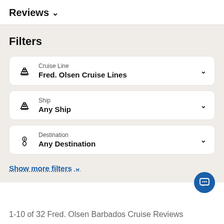Reviews ∨
Filters
Cruise Line
Fred. Olsen Cruise Lines
Ship
Any Ship
Destination
Any Destination
Show more filters ∨
1-10 of 32 Fred. Olsen Barbados Cruise Reviews